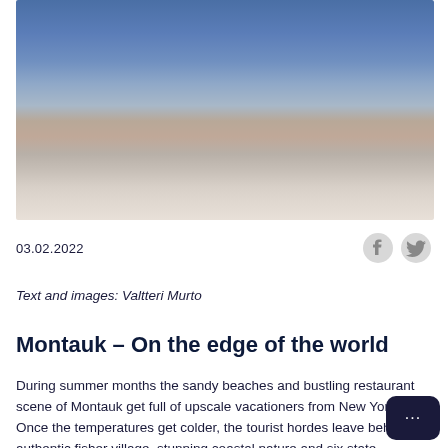[Figure (photo): Blurred outdoor coastal/beach photo with blue sky above and sandy/earthy tones below, out of focus.]
03.02.2022
Text and images: Valtteri Murto
Montauk – On the edge of the world
During summer months the sandy beaches and bustling restaurant scene of Montauk get full of upscale vacationers from New York. Once the temperatures get colder, the tourist hordes leave behind an authentic fisher village, stunning coastal nature and six state